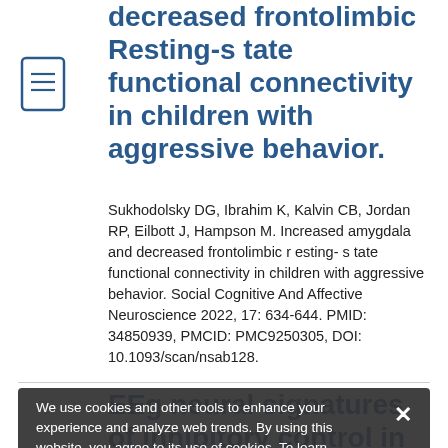decreased frontolimbic Resting-state functional connectivity in children with aggressive behavior.
Sukhodolsky DG, Ibrahim K, Kalvin CB, Jordan RP, Eilbott J, Hampson M. Increased amygdala and decreased frontolimbic resting-state functional connectivity in children with aggressive behavior. Social Cognitive And Affective Neuroscience 2022, 17: 634-644. PMID: 34850939, PMCID: PMC9250305, DOI: 10.1093/scan/nsab128.
We use cookies and other tools to enhance your experience and analyze web trends. By using this website, you agree to its use of cookies. To learn more, please review our Privacy Policy.
EEg neural signatures of inhibitory control in children with inattention and attention-deficit/hyperactivity disorder.